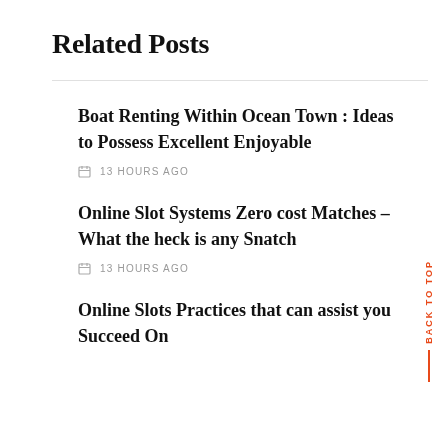Related Posts
Boat Renting Within Ocean Town : Ideas to Possess Excellent Enjoyable
13 HOURS AGO
Online Slot Systems Zero cost Matches – What the heck is any Snatch
13 HOURS AGO
Online Slots Practices that can assist you Succeed On
BACK TO TOP